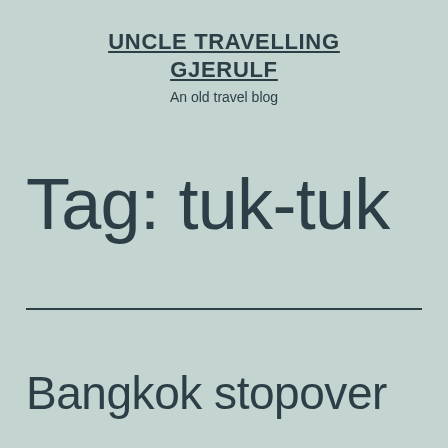UNCLE TRAVELLING GJERULF
An old travel blog
Tag: tuk-tuk
Bangkok stopover